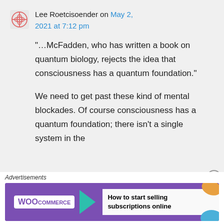Lee Roetcisoender on May 2, 2021 at 7:12 pm
“…McFadden, who has written a book on quantum biology, rejects the idea that consciousness has a quantum foundation.”

We need to get past these kind of mental blockades. Of course consciousness has a quantum foundation; there isn’t a single system in the
Advertisements
[Figure (screenshot): WooCommerce advertisement banner: purple background with WooCommerce logo, green arrow, text 'How to start selling subscriptions online', orange and blue decorative shapes.]